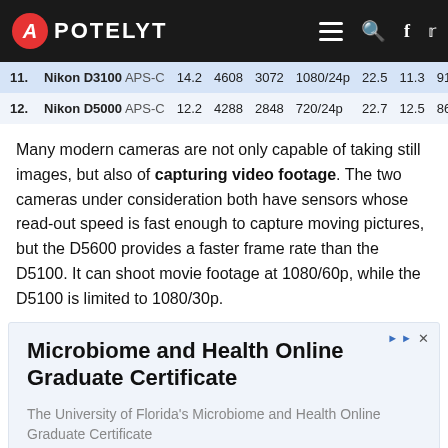APOTELYT
| # | Camera | Sensor | MP | W | H | Video | DR | SNR | Score |
| --- | --- | --- | --- | --- | --- | --- | --- | --- | --- |
| 11. | Nikon D3100 | APS-C | 14.2 | 4608 | 3072 | 1080/24p | 22.5 | 11.3 | 919 |
| 12. | Nikon D5000 | APS-C | 12.2 | 4288 | 2848 | 720/24p | 22.7 | 12.5 | 868 |
Many modern cameras are not only capable of taking still images, but also of capturing video footage. The two cameras under consideration both have sensors whose read-out speed is fast enough to capture moving pictures, but the D5600 provides a faster frame rate than the D5100. It can shoot movie footage at 1080/60p, while the D5100 is limited to 1080/30p.
[Figure (other): Advertisement banner: Microbiome and Health Online Graduate Certificate — The University of Florida's Microbiome and Health Online Graduate Certificate]